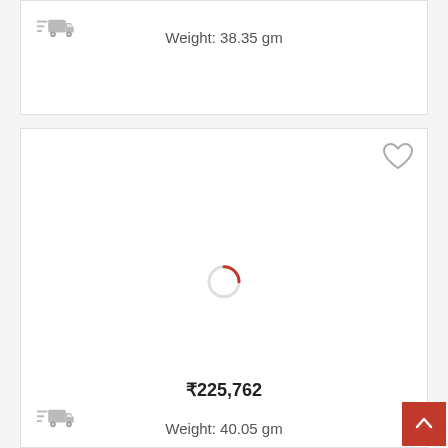[Figure (screenshot): Truck/delivery icon in gray]
Weight: 38.35 gm
[Figure (screenshot): Heart/wishlist icon outline in gray]
[Figure (other): Red loading spinner circle (content loading indicator)]
₹225,762
[Figure (screenshot): Truck/delivery icon in gray]
Weight: 40.05 gm
[Figure (other): Red back-to-top arrow button in bottom right corner]